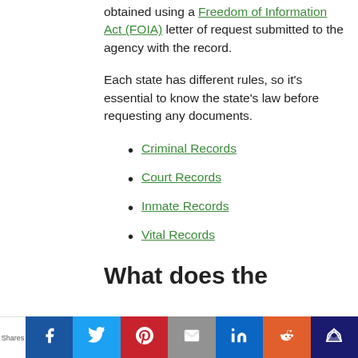obtained using a Freedom of Information Act (FOIA) letter of request submitted to the agency with the record.
Each state has different rules, so it’s essential to know the state’s law before requesting any documents.
Criminal Records
Court Records
Inmate Records
Vital Records
What does the